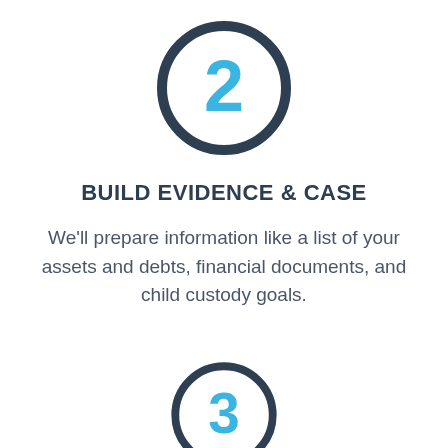[Figure (infographic): Dark navy circle outline with the number 2 in bright blue inside, representing step 2]
BUILD EVIDENCE & CASE
We'll prepare information like a list of your assets and debts, financial documents, and child custody goals.
[Figure (infographic): Dark navy circle outline with the number 3 in bright blue inside, representing step 3]